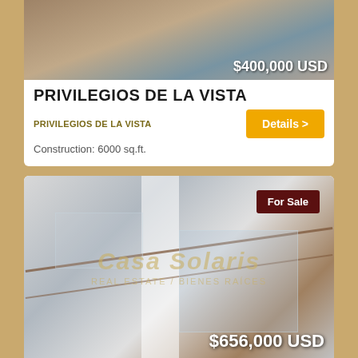[Figure (photo): Exterior photo of Privilegios de la Vista property with price overlay $400,000 USD]
PRIVILEGIOS DE LA VISTA
PRIVILEGIOS DE LA VISTA
Construction: 6000 sq.ft.
[Figure (photo): Interior staircase photo of Casa Solaris property with For Sale badge and price overlay $656,000 USD]